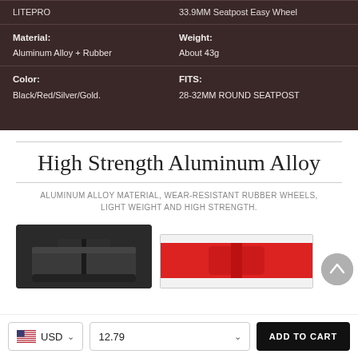| Brand | Model |
| --- | --- |
| LITEPRO | 33.9MM Seatpost Easy Wheel |
| Material: Aluminum Alloy + Rubber | Weight: About 43g |
| Color: Black/Red/Silver/Gold. | FITS: 28-32MM ROUND SEATPOST |
High Strength Aluminum Alloy
ALUMINUM ALLOY MATERIAL, WEAR-RESISTANT RUBBER WHEELS, LIGHT WEIGHT AND HIGH STRENGTH.
[Figure (photo): Dark aluminum alloy seatpost easy wheel product photo]
[Figure (photo): Red colored variant of seatpost easy wheel]
USD  |  12.79  |  ADD TO CART